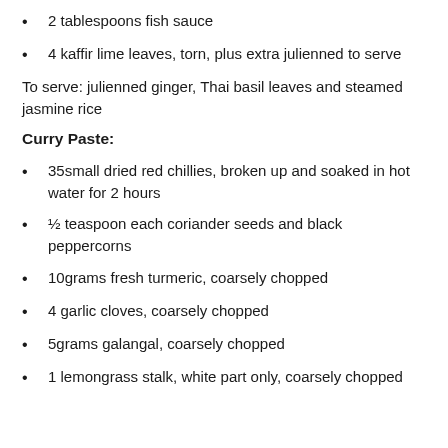2 tablespoons fish sauce
4 kaffir lime leaves, torn, plus extra julienned to serve
To serve: julienned ginger, Thai basil leaves and steamed jasmine rice
Curry Paste:
35small dried red chillies, broken up and soaked in hot water for 2 hours
½ teaspoon each coriander seeds and black peppercorns
10grams fresh turmeric, coarsely chopped
4 garlic cloves, coarsely chopped
5grams galangal, coarsely chopped
1 lemongrass stalk, white part only, coarsely chopped